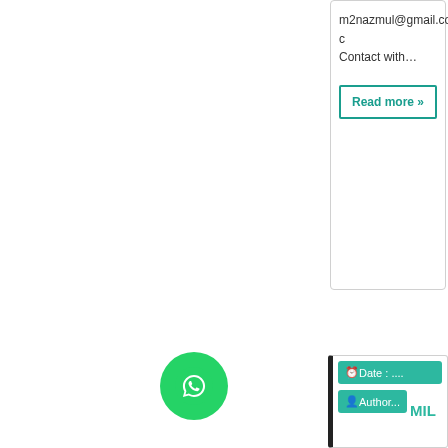m2nazmul@gmail.com c Contact with...
Read more »
Date : ....
Author...  MIL
Posted by noprayer4dy on 2010-07-04 16:34:21 Tagged: , neaz ahmed photography , singer , r rocking , mask , Amy Lee bangladesh , mila islam co o night , mic e , sound , m ,,,